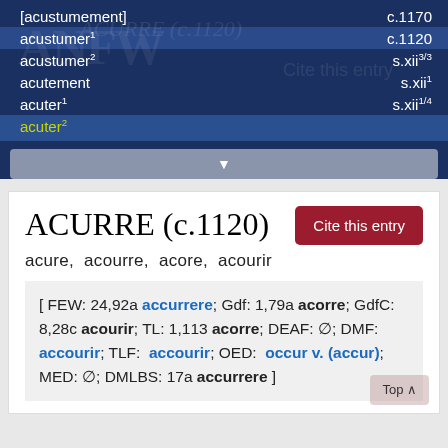[acustumement]   c.1170
acustumer¹   c.1120
acustumer²   s.xii3/3
acutement   s.xii¹
acuter¹   s.xii1/4
acuter²
ACURRE (c.1120)
acure,  acourre,  acore,  acourir
[ FEW: 24,92a accurrere; Gdf: 1,79a acorre; GdfC: 8,28c acourir; TL: 1,113 acorre; DEAF: ∅; DMF: accourir; TLF: accourir; OED: occur v. (accur); MED: ∅; DMLBS: 17a accurrere ]